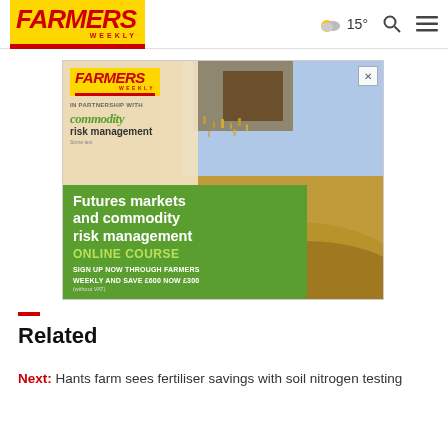Farmers Weekly — 15° weather, search, menu
[Figure (screenshot): Farmers Weekly advertisement banner for 'Futures markets and commodity risk management ONLINE COURSE'. In partnership with Commodity Risk Management. Sign up now through Farmers Weekly and save £600, now £300 (without VAT). Background shows hands pouring grain.]
Related
Next: Hants farm sees fertiliser savings with soil nitrogen testing